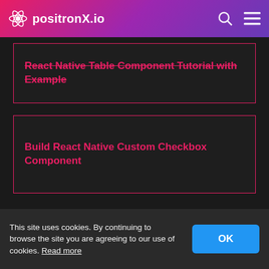positronX.io
React Native Table Component Tutorial with Example
Build React Native Custom Checkbox Component
This site uses cookies. By continuing to browse the site you are agreeing to our use of cookies. Read more